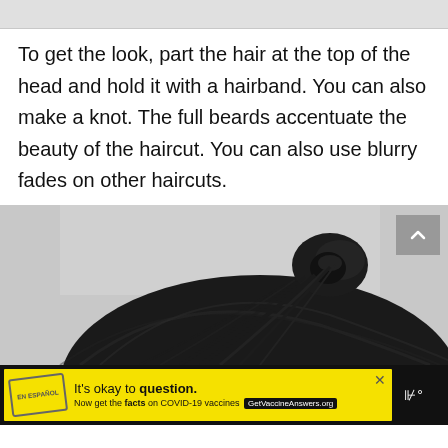[Figure (other): Gray top bar / browser chrome area]
To get the look, part the hair at the top of the head and hold it with a hairband. You can also make a knot. The full beards accentuate the beauty of the haircut. You can also use blurry fades on other haircuts.
[Figure (photo): Photo of a person with dark hair tied in a bun/knot at the top of the head, viewed from behind. Light gray background. A scroll-to-top button (gray square with upward chevron) overlays the top-right corner of the image.]
[Figure (other): Yellow advertisement banner on black background. Text reads: It's okay to question. Now get the facts on COVID-19 vaccines GetVaccineAnswers.org. Close button (X) at upper right. Right side shows a dark icon with dots and a degree symbol.]